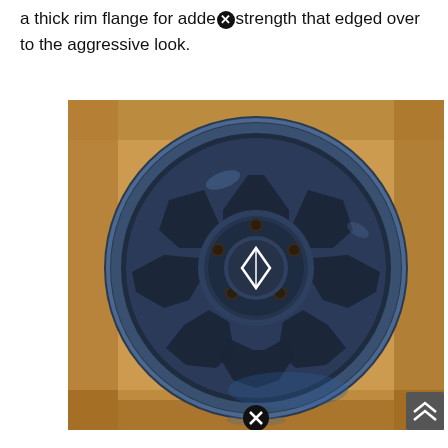a thick rim flange for added strength that edged over to the aggressive look.
[Figure (photo): A dark blue/black multi-spoke alloy wheel with a branded center cap, photographed from above while sitting inside an open cardboard box.]